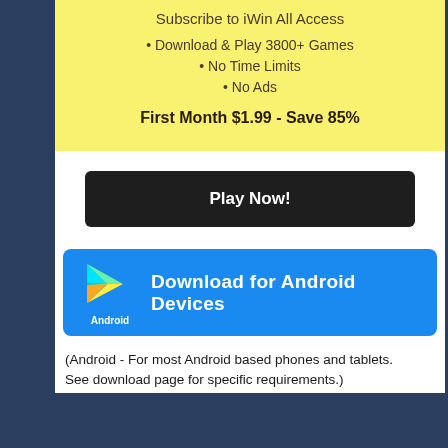Subscribe to iWin All Access
• Download & Play 3800+ Games
• No Time Limits
• No Ads
First Month $1.99 - Save 85%
Play Now!
[Figure (logo): Google Play Android logo with triangle play icon and 'Android' label below]
Download for Android Devices
(Android - For most Android based phones and tablets.
See download page for specific requirements.)